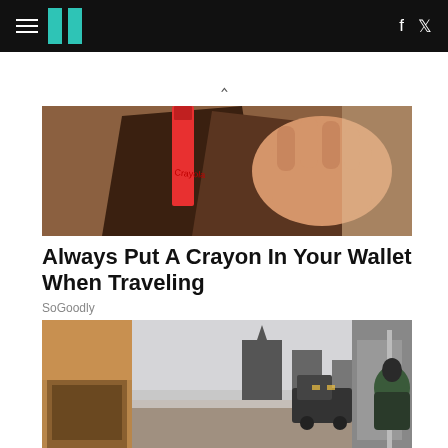HuffPost navigation bar with hamburger menu, logo, Facebook and Twitter icons
[Figure (photo): A hand holding a wallet open with a red crayon inside, close-up shot]
Always Put A Crayon In Your Wallet When Traveling
SoGoodly
[Figure (photo): A person walking along a snowy urban street sidewalk with buildings and a truck in the background]